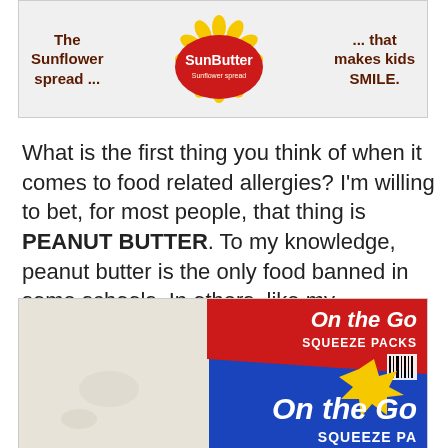[Figure (illustration): SunButter advertisement banner: 'The Sunflower spread ...' on the left, SunButter logo in the center, '... that makes kids SMILE.' on the right, on a light gray background.]
What is the first thing you think of when it comes to food related allergies? I'm willing to bet, for most people, that thing is PEANUT BUTTER. To my knowledge, peanut butter is the only food banned in some schools. In others, like my daughter's, there is a special table for those with allergies, so they don't accidentally eat near someone eating peanut butter.
[Figure (photo): A photo of an 'On the Go Squeeze Packs' product box, blue and red colored packaging, partially cropped, on a light beige background.]